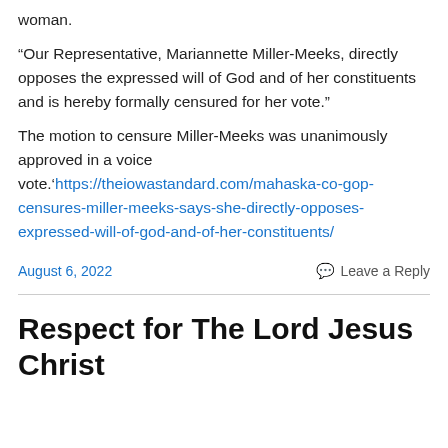woman.
“Our Representative, Mariannette Miller-Meeks, directly opposes the expressed will of God and of her constituents and is hereby formally censured for her vote.”
The motion to censure Miller-Meeks was unanimously approved in a voice vote.'https://theiowastandard.com/mahaska-co-gop-censures-miller-meeks-says-she-directly-opposes-expressed-will-of-god-and-of-her-constituents/
August 6, 2022
Leave a Reply
Respect for The Lord Jesus Christ